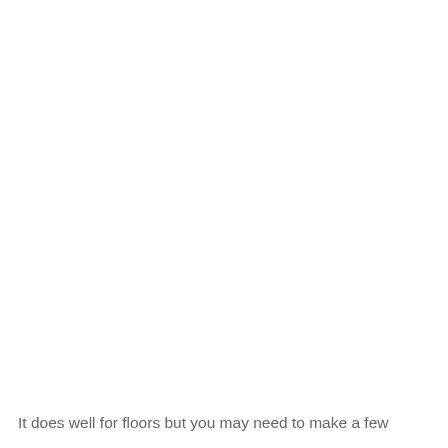It does well for floors but you may need to make a few